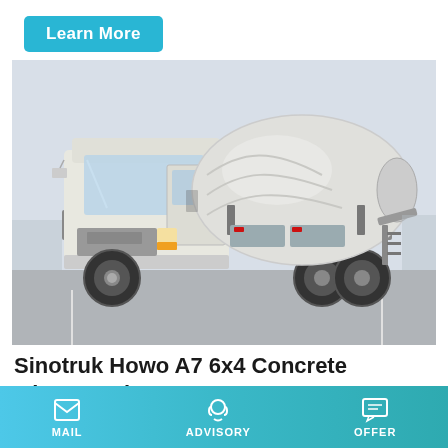Learn More
[Figure (photo): Photo of a white Sinotruk Howo A7 6x4 Concrete Mixer Truck parked in a lot, showing the cab on the left and the large cylindrical mixing drum on the right.]
Sinotruk Howo A7 6x4 Concrete Mixer Truck
MAIL   ADVISORY   OFFER